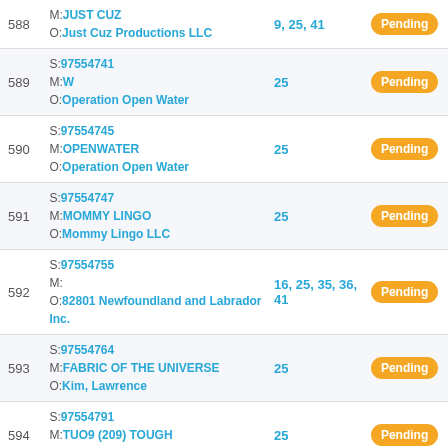| # | Mark / Owner / Serial | Classes | Status |
| --- | --- | --- | --- |
| 588 | M: JUST CUZ
O: Just Cuz Productions LLC | 9, 25, 41 | Pending |
| 589 | S: 97554741
M: W
O: Operation Open Water | 25 | Pending |
| 590 | S: 97554745
M: OPENWATER
O: Operation Open Water | 25 | Pending |
| 591 | S: 97554747
M: MOMMY LINGO
O: Mommy Lingo LLC | 25 | Pending |
| 592 | S: 97554755
M:
O: 82801 Newfoundland and Labrador Inc. | 16, 25, 35, 36, 41 | Pending |
| 593 | S: 97554764
M: FABRIC OF THE UNIVERSE
O: Kim, Lawrence | 25 | Pending |
| 594 | S: 97554791
M: TUO9 (209) TOUGH
O: Gregg, Steven | 25 | Pending |